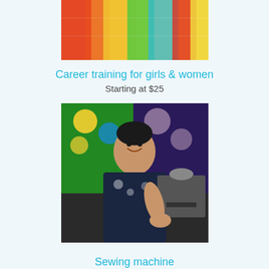[Figure (photo): Colorful woven fabric or textile with red, yellow, green, and blue diagonal stripes]
Career training for girls & women
Starting at $25
[Figure (photo): A smiling woman seated near a sewing machine with colorful fabric backgrounds]
Sewing machine
Starting at $50
▲ BACK TO TOP
You can help hardworking families flourish